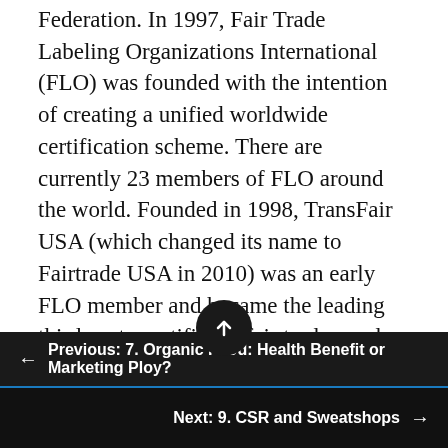Federation. In 1997, Fair Trade Labeling Organizations International (FLO) was founded with the intention of creating a unified worldwide certification scheme. There are currently 23 members of FLO around the world. Founded in 1998, TransFair USA (which changed its name to Fairtrade USA in 2010) was an early FLO member and became the leading third-party certifier of fair trade goods sold in the United States. TransFair got its start in California, importing the production of Nicaraguan coffee farmers.
In 1998, four European Fair Trade organizations banded together to form an international
Previous: 7. Organic Food: Health Benefit or Marketing Ploy?
Next: 9. CSR and Sweatshops